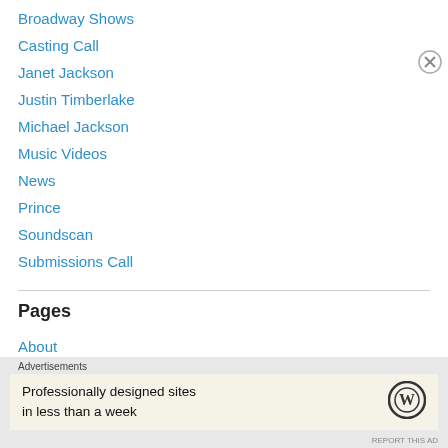Broadway Shows
Casting Call
Janet Jackson
Justin Timberlake
Michael Jackson
Music Videos
News
Prince
Soundscan
Submissions Call
Pages
About
Advertisements
Professionally designed sites in less than a week